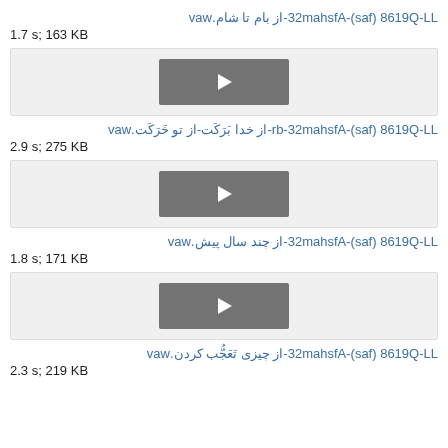LL-Q9168 (fas)-Afsham23-از بام تا شام.wav
1.7 s; 163 KB
[Figure (other): Audio player with play button]
LL-Q9168 (fas)-Afsham23-br-از خدا بَرَکَت-از تو خَرَکَت.wav
2.9 s; 275 KB
[Figure (other): Audio player with play button]
LL-Q9168 (fas)-Afsham23-از چند سال پیش.wav
1.8 s; 171 KB
[Figure (other): Audio player with play button]
LL-Q9168 (fas)-Afsham23-از چیزی تَعَجُّب کردن.wav
2.3 s; 219 KB